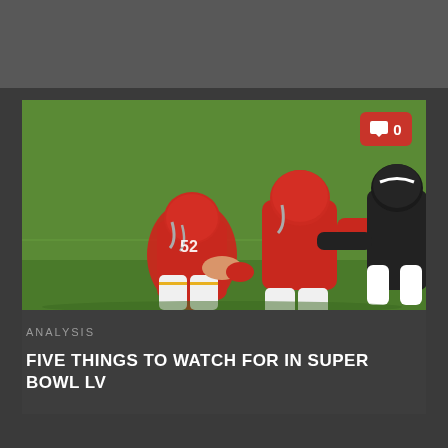[Figure (photo): Top banner/header area with dark gray background]
[Figure (photo): Football players in red Kansas City Chiefs uniforms lined up at the line of scrimmage against a defender in a dark uniform, on a green grass field. Players wearing red helmets and jerseys, number 52 visible. A red comment badge with '0' appears in the top right corner.]
ANALYSIS
FIVE THINGS TO WATCH FOR IN SUPER BOWL LV